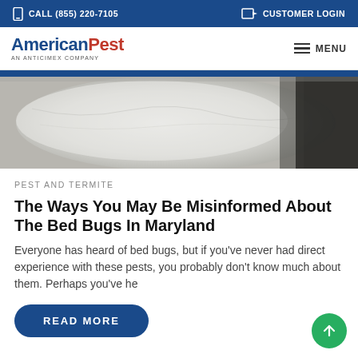CALL (855) 220-7105  |  CUSTOMER LOGIN
[Figure (logo): AmericanPest - AN ANTICIMEX COMPANY logo with MENU hamburger icon]
[Figure (photo): Close-up photo of bed bugs or bed bug eggs on a white surface, partially darkened on the right side]
PEST AND TERMITE
The Ways You May Be Misinformed About The Bed Bugs In Maryland
Everyone has heard of bed bugs, but if you’ve never had direct experience with these pests, you probably don’t know much about them. Perhaps you’ve he
READ MORE